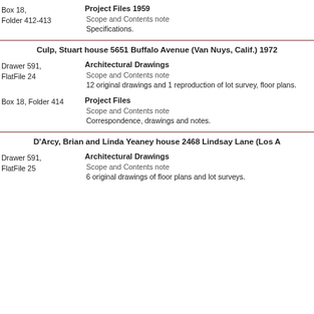Box 18, Folder 412-413
Project Files 1959
Scope and Contents note
Specifications.
Culp, Stuart house 5651 Buffalo Avenue (Van Nuys, Calif.) 1972
Drawer 591, FlatFile 24
Architectural Drawings
Scope and Contents note
12 original drawings and 1 reproduction of lot survey, floor plans.
Box 18, Folder 414
Project Files
Scope and Contents note
Correspondence, drawings and notes.
D'Arcy, Brian and Linda Yeaney house 2468 Lindsay Lane (Los A...
Drawer 591, FlatFile 25
Architectural Drawings
Scope and Contents note
6 original drawings of floor plans and lot surveys.